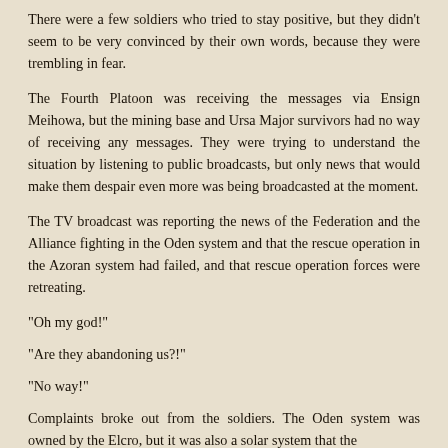There were a few soldiers who tried to stay positive, but they didn't seem to be very convinced by their own words, because they were trembling in fear.
The Fourth Platoon was receiving the messages via Ensign Meihowa, but the mining base and Ursa Major survivors had no way of receiving any messages. They were trying to understand the situation by listening to public broadcasts, but only news that would make them despair even more was being broadcasted at the moment.
The TV broadcast was reporting the news of the Federation and the Alliance fighting in the Oden system and that the rescue operation in the Azoran system had failed, and that rescue operation forces were retreating.
“Oh my god!”
“Are they abandoning us?!”
“No way!”
Complaints broke out from the soldiers. The Oden system was owned by the Elcro, but it was also a solar system that the